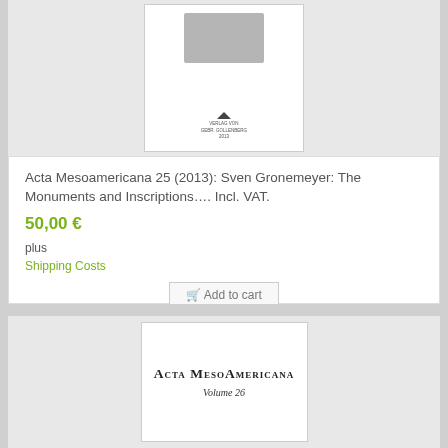[Figure (photo): Book cover preview for Acta Mesoamericana 25, showing a textured stone image at the top and a publisher logo at the bottom on a white background, displayed within a gray product card area.]
Acta Mesoamericana 25 (2013): Sven Gronemeyer: The Monuments and Inscriptions…. Incl. VAT.
50,00 €
plus
Shipping Costs
Add to cart
[Figure (photo): Book cover for Acta Mesoamericana Volume 26, showing title in small caps serif font and volume number in italic, on a white background within a gray product card area.]